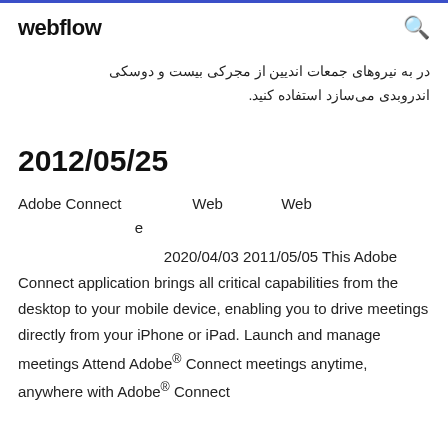webflow
در به نیروهای جمعات اندیین از مجرکی بیست و دوسکی اندروبدی می‌سازد استفاده کنید.
2012/05/25
Adobe Connect                Web                Web
                     e
2020/04/03 2011/05/05 This Adobe Connect application brings all critical capabilities from the desktop to your mobile device, enabling you to drive meetings directly from your iPhone or iPad. Launch and manage meetings Attend Adobe® Connect meetings anytime, anywhere with Adobe® Connect